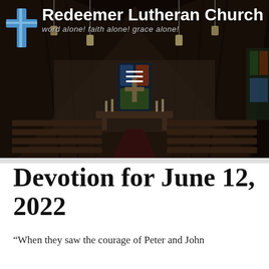[Figure (photo): Interior of Redeemer Lutheran Church showing wooden pews, a center aisle with red carpet, stone altar area with cross and stained glass window behind it, vaulted wooden ceiling. The image is darkened. Overlaid with the church logo (stylized cross in blue) and text 'Redeemer Lutheran Church / word alone! faith alone! grace alone!' in white. A hamburger menu icon is visible in the center-top of the image.]
Devotion for June 12, 2022
“When they saw the courage of Peter and John